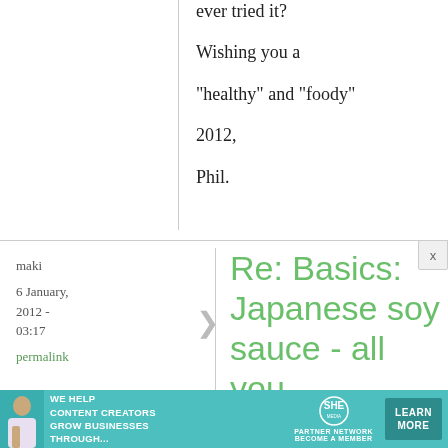ever tried it?
Wishing you a
"healthy" and "foody"
2012,
Phil.
maki
6 January, 2012 - 03:17
permalink
Re: Basics: Japanese soy sauce - all you
[Figure (other): Advertisement banner for SHE Media Partner Network: 'We help content creators grow businesses through...' with Learn More button]